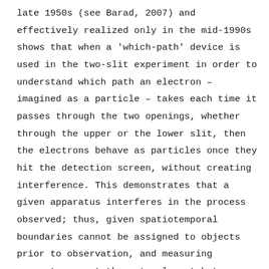late 1950s (see Barad, 2007) and effectively realized only in the mid-1990s shows that when a 'which-path' device is used in the two-slit experiment in order to understand which path an electron – imagined as a particle – takes each time it passes through the two openings, whether through the upper or the lower slit, then the electrons behave as particles once they hit the detection screen, without creating interference. This demonstrates that a given apparatus interferes in the process observed; thus, given spatiotemporal boundaries cannot be assigned to objects prior to observation, and measuring apparatuses cut the entanglement between the observing agent and the observed object differently each time, intimately linking 'measurement and description' (Barad, 2007, p. 109) and